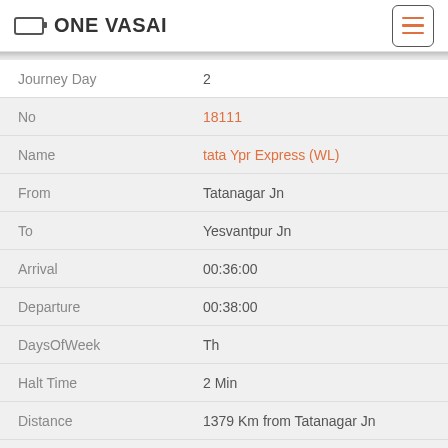ONE VASAI
| Field | Value |
| --- | --- |
| Journey Day | 2 |
| No | 18111 |
| Name | tata Ypr Express (WL) |
| From | Tatanagar Jn |
| To | Yesvantpur Jn |
| Arrival | 00:36:00 |
| Departure | 00:38:00 |
| DaysOfWeek | Th |
| Halt Time | 2 Min |
| Distance | 1379 Km from Tatanagar Jn |
| Journey Day | 2 |